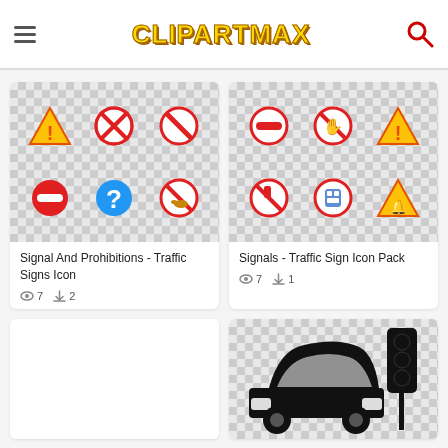CLIPARTMAX
[Figure (illustration): Signal And Prohibitions - Traffic Signs Icon: six traffic signs including warning triangle, prohibited cross circle, no entry, minus circle, question mark circle, and no smoking circle on checker background]
Signal And Prohibitions - Traffic Signs Icon
[Figure (illustration): Signals - Traffic Sign Icon Pack: six traffic signs including minus circle, no hand circle, warning triangle, no drink circle, train prohibited circle, and alarm triangle on checker background]
Signals - Traffic Sign Icon Pack
[Figure (illustration): Bottom left card - blank white]
[Figure (illustration): Car with traffic light silhouette in black on checker background]